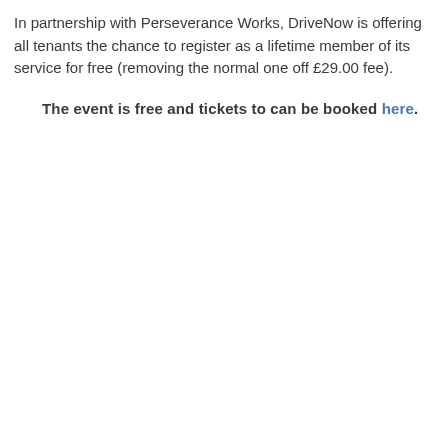In partnership with Perseverance Works, DriveNow is offering all tenants the chance to register as a lifetime member of its service for free (removing the normal one off £29.00 fee).
The event is free and tickets to can be booked here.